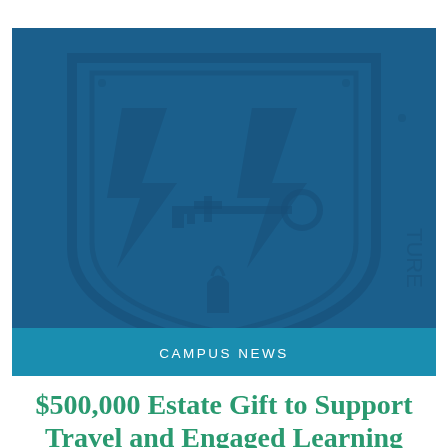[Figure (illustration): University shield/crest emblem on dark blue background showing lightning bolts, a key, and a torch/book, with a lighter blue 'CAMPUS NEWS' label bar at the bottom]
CAMPUS NEWS
$500,000 Estate Gift to Support Travel and Engaged Learning